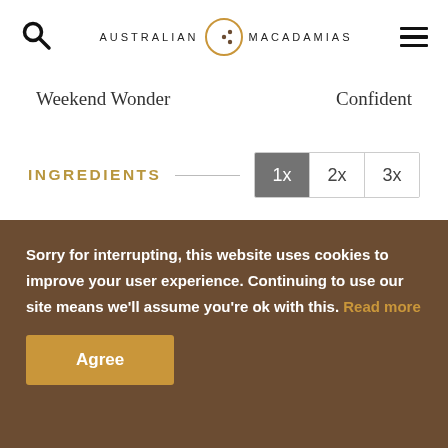Australian Macadamias — navigation header with search and menu icons
Weekend Wonder    Confident
INGREDIENTS
Multiplier buttons: 1x (active), 2x, 3x
Sorry for interrupting, this website uses cookies to improve your user experience. Continuing to use our site means we'll assume you're ok with this. Read more
Agree